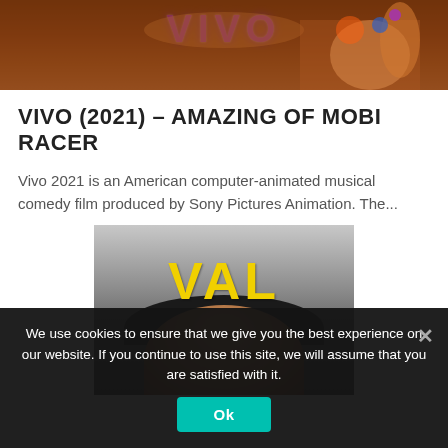[Figure (photo): Top portion of Vivo (2021) animated movie promotional image showing colorful characters and the Vivo logo text in purple/blue on warm brown background]
VIVO (2021) – AMAZING OF MOBI RACER
Vivo 2021 is an American computer-animated musical comedy film produced by Sony Pictures Animation. The...
[Figure (photo): VAL movie poster showing a person's face with dark hair and the word VAL written in bold yellow graffiti-style text]
We use cookies to ensure that we give you the best experience on our website. If you continue to use this site, we will assume that you are satisfied with it.